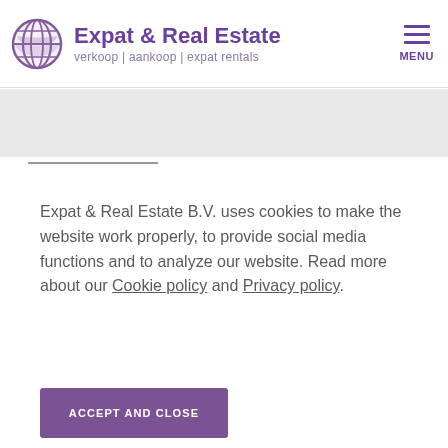Expat & Real Estate — verkoop | aankoop | expat rentals
Expat & Real Estate B.V. uses cookies to make the website work properly, to provide social media functions and to analyze our website. Read more about our Cookie policy and Privacy policy.
ACCEPT AND CLOSE